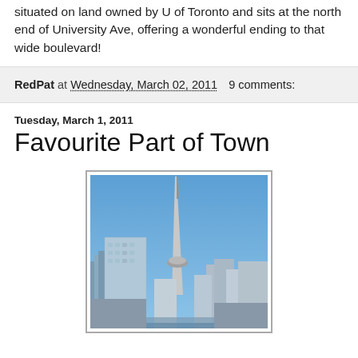situated on land owned by U of Toronto and sits at the north end of University Ave, offering a wonderful ending to that wide boulevard!
RedPat at Wednesday, March 02, 2011   9 comments:
Tuesday, March 1, 2011
Favourite Part of Town
[Figure (photo): Photo of the CN Tower and Toronto skyline against a blue sky, with office buildings visible in the foreground.]